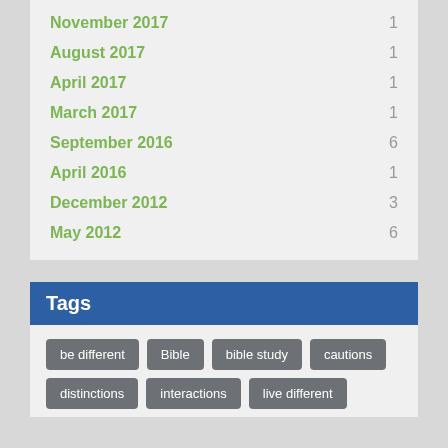November 2017  1
August 2017  1
April 2017  1
March 2017  1
September 2016  6
April 2016  1
December 2012  3
May 2012  6
Tags
be different
Bible
bible study
cautions
distinctions
interactions
live different